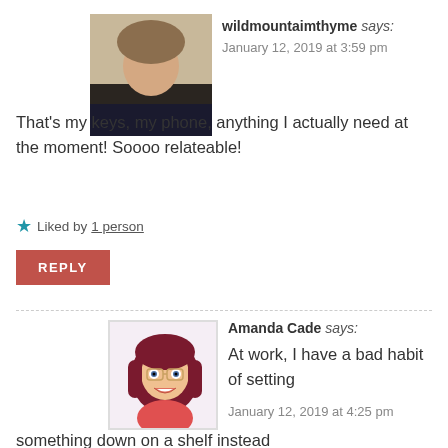wildmountaimthyme says:
January 12, 2019 at 3:59 pm
[Figure (photo): Profile photo of wildmountaimthyme: a woman with blonde hair]
That's my keys, my phone, anything I actually need at the moment! Soooo relateable!
Liked by 1 person
REPLY
[Figure (illustration): Avatar/bitmoji of Amanda Cade: animated character with dark red hair]
Amanda Cade says:
At work, I have a bad habit of setting
January 12, 2019 at 4:25 pm
something down on a shelf instead